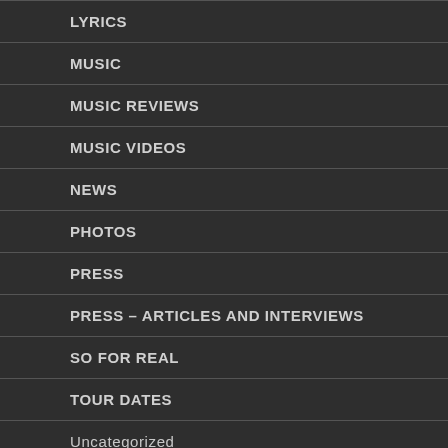LYRICS
MUSIC
MUSIC REVIEWS
MUSIC VIDEOS
NEWS
PHOTOS
PRESS
PRESS – ARTICLES AND INTERVIEWS
SO FOR REAL
TOUR DATES
Uncategorized